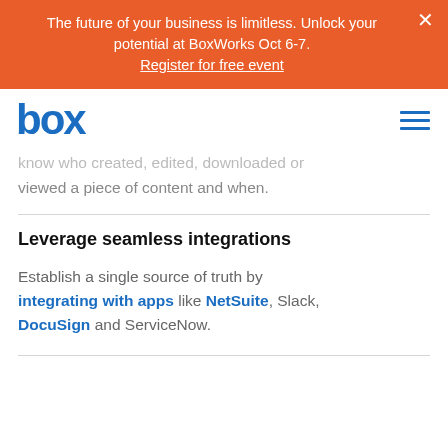The future of your business is limitless. Unlock your potential at BoxWorks Oct 6-7. Register for free event
[Figure (logo): Box logo in blue with hamburger menu icon on the right]
know who created, edited, downloaded or viewed a piece of content and when.
Leverage seamless integrations
Establish a single source of truth by integrating with apps like NetSuite, Slack, DocuSign and ServiceNow.